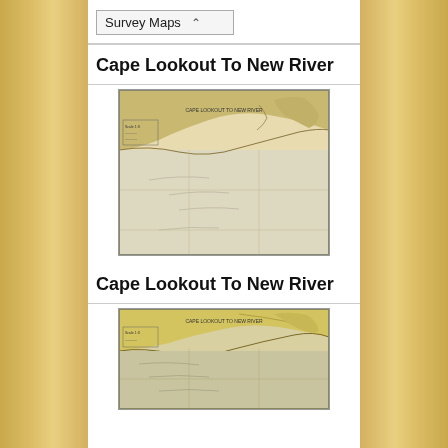Survey Maps
Cape Lookout To New River
[Figure (map): Nautical/survey map of Cape Lookout to New River coastal area, showing shoreline, water depths, and geographic features. Tan/beige coloring with detailed coastal geography.]
Cape Lookout To New River
[Figure (map): Second version/edition of nautical/survey map of Cape Lookout to New River, with yellow-toned coloring showing coastal geography, shoreline, and waterways.]